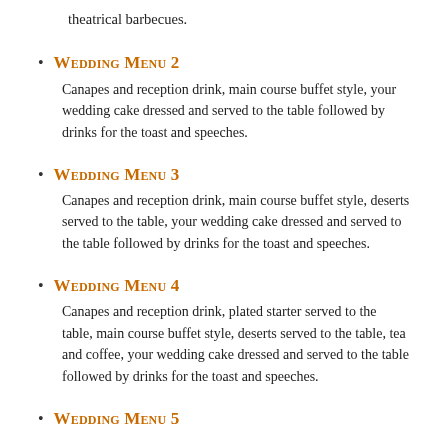theatrical barbecues.
Wedding Menu 2
Canapes and reception drink, main course buffet style, your wedding cake dressed and served to the table followed by drinks for the toast and speeches.
Wedding Menu 3
Canapes and reception drink, main course buffet style, deserts served to the table, your wedding cake dressed and served to the table followed by drinks for the toast and speeches.
Wedding Menu 4
Canapes and reception drink, plated starter served to the table, main course buffet style, deserts served to the table, tea and coffee, your wedding cake dressed and served to the table followed by drinks for the toast and speeches.
Wedding Menu 5